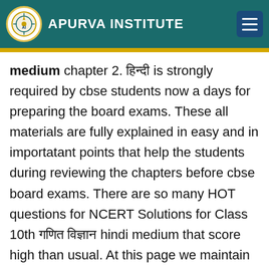APURVA INSTITUTE
medium chapter 2. हिन्दी is strongly required by cbse students now a days for preparing the board exams. These all materials are fully explained in easy and in importatant points that help the students during reviewing the chapters before cbse board exams. There are so many HOT questions for NCERT Solutions for Class 10th गणित विज्ञान hindi medium that score high than usual. At this page we maintain four important sections like chapter review, ncert books exercise solutions, questions under